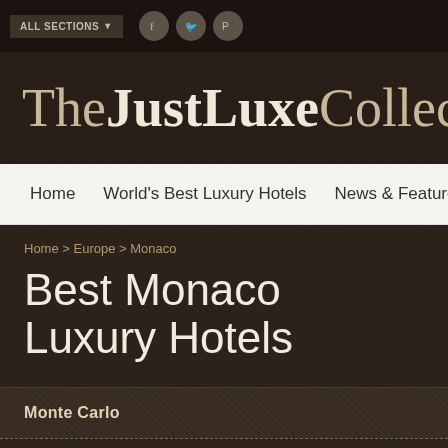ALL SECTIONS
TheJustLuxeCollection
Home | World's Best Luxury Hotels | News & Features | World
Home > Europe > Monaco
Best Monaco Luxury Hotels
Monte Carlo
RESERVE A LUXURY HOTEL ONLINE NOW.
CHECK IN DATE   CHECK OUT DATE   GUESTS   ROOMS